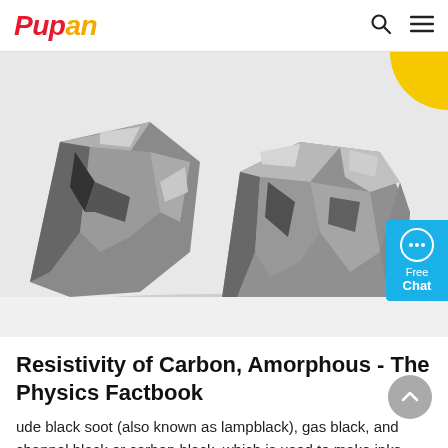Pupan
[Figure (photo): Two large pieces of amorphous carbon / dark grey metallic-looking rocks on a white background, with a yellow circular element partially visible in the top right corner and a blue 'Free Chat' button on the right side.]
Resistivity of Carbon, Amorphous - The Physics Factbook
ude black soot (also known as lampblack), gas black, and channel black or carbon black, which is used to make inks, paints and rubber products. It can also be pressed into shapes and...